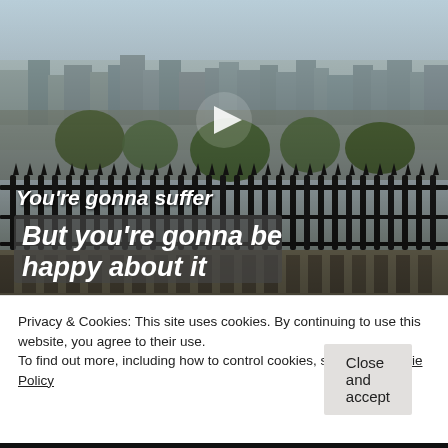[Figure (photo): Aerial view of Paris cityscape from elevated position (likely Montmartre), featuring a wrought-iron fence in the foreground, trees, rooftops, and city buildings in the background. A white play button triangle is visible in the center. White italic text reads 'You’re gonna suffer' and a grey-box overlaid text reads 'But you’re gonna be happy about it'.]
Privacy & Cookies: This site uses cookies. By continuing to use this website, you agree to their use.
To find out more, including how to control cookies, see here: Cookie Policy
Close and accept